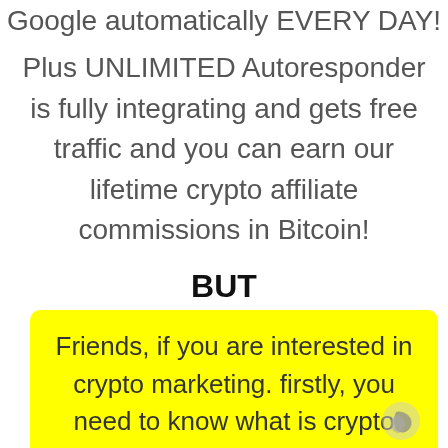Google automatically EVERY DAY!
Plus UNLIMITED Autoresponder is fully integrating and gets free traffic and you can earn our lifetime crypto affiliate commissions in Bitcoin!
BUT
Friends, if you are interested in crypto marketing. firstly, you need to know what is crypto marketing? and how it can work